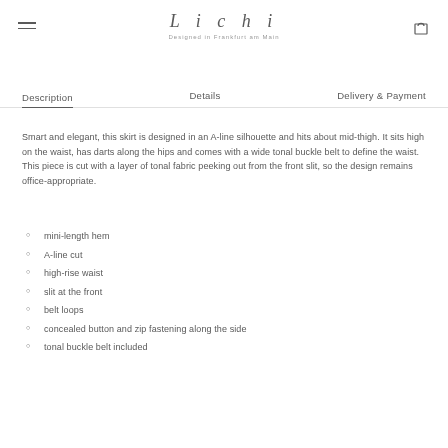Lichi — Designed in Frankfurt am Main
Description | Details | Delivery & Payment
Smart and elegant, this skirt is designed in an A-line silhouette and hits about mid-thigh. It sits high on the waist, has darts along the hips and comes with a wide tonal buckle belt to define the waist. This piece is cut with a layer of tonal fabric peeking out from the front slit, so the design remains office-appropriate.
mini-length hem
A-line cut
high-rise waist
slit at the front
belt loops
concealed button and zip fastening along the side
tonal buckle belt included